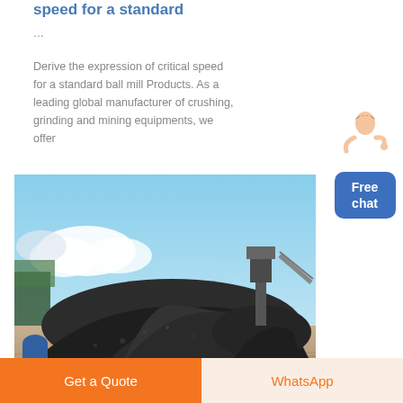speed for a standard
...
Derive the expression of critical speed for a standard ball mill Products. As a leading global manufacturer of crushing, grinding and mining equipments, we offer
[Figure (photo): Outdoor photo of large piles of crushed rock/aggregate material at a mining or quarry site, with conveyor/industrial equipment visible in the background under a partly cloudy blue sky.]
Free chat
Get a Quote
WhatsApp